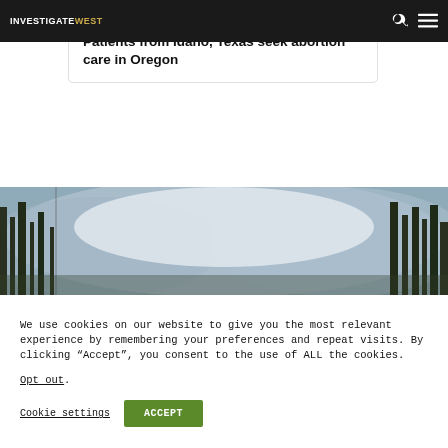INVESTIGATEWEST
Patients from Idaho, Texas seek abortion care in Oregon
[Figure (photo): Wildfire smoke scene with trees partially obscured by thick blue-grey smoke]
We use cookies on our website to give you the most relevant experience by remembering your preferences and repeat visits. By clicking “Accept”, you consent to the use of ALL the cookies.
Opt out.
Cookie settings   ACCEPT